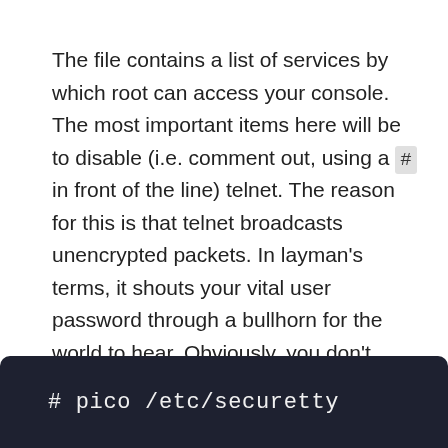The file contains a list of services by which root can access your console. The most important items here will be to disable (i.e. comment out, using a # in front of the line) telnet. The reason for this is that telnet broadcasts unencrypted packets. In layman's terms, it shouts your vital user password through a bullhorn for the world to hear. Obviously, you don't need your root password broadcast this way. Our box has the following /etc/securetty file before we get to it.
# pico /etc/securetty